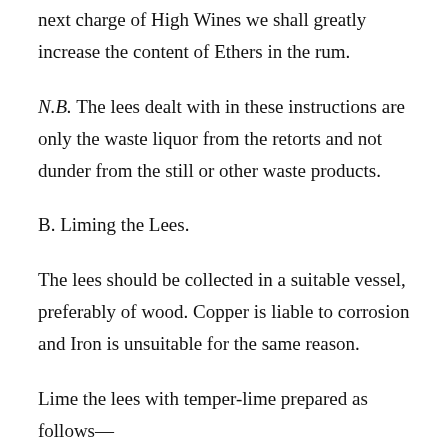next charge of High Wines we shall greatly increase the content of Ethers in the rum.
N.B. The lees dealt with in these instructions are only the waste liquor from the retorts and not dunder from the still or other waste products.
B. Liming the Lees.
The lees should be collected in a suitable vessel, preferably of wood. Copper is liable to corrosion and Iron is unsuitable for the same reason.
Lime the lees with temper-lime prepared as follows—